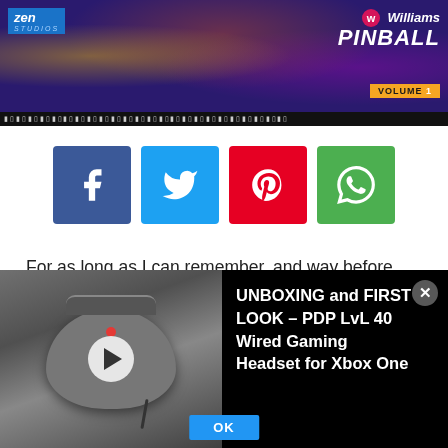[Figure (screenshot): Williams Pinball Volume 1 header banner with Zen Studios logo on left and Williams Pinball logo on right, colorful pinball table background]
[Figure (screenshot): Social share buttons: Facebook (blue), Twitter (cyan), Pinterest (red), WhatsApp (green)]
For as long as I can remember, and way before Pinball FX provided pinball to the masses, Williams was always a name synonymous with the top quality, real world pinball tables. Tables like Terminator 2: Judgement Day and Taxi come to mind, especially given that they've both been available in digital form since their conception. Zen Studios know that most
[Figure (screenshot): Video player overlay showing a gaming headset (PDP LvL 40 Wired Gaming Headset for Xbox One) with play button and title text. Close button (X) in top right. OK button at bottom.]